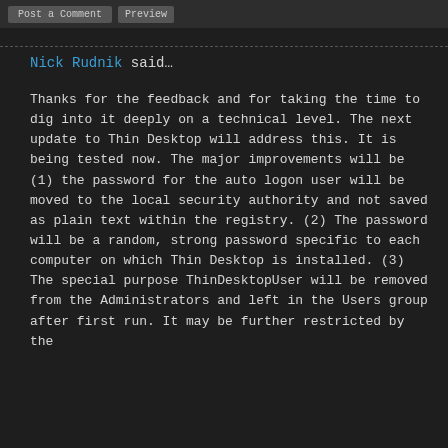[buttons: gray button, small button]
Nick Rudnik said…

Thanks for the feedback and for taking the time to dig into it deeply on a technical level. The next update to Thin Desktop will address this. It is being tested now. The major improvements will be (1) the password for the auto logon user will be moved to the local security authority and not saved as plain text within the registry. (2) The password will be a random, strong password specific to each computer on which Thin Desktop is installed. (3) The special purpose ThinDesktopUser will be removed from the Administrators and left in the Users group after first run. It may be further restricted by the